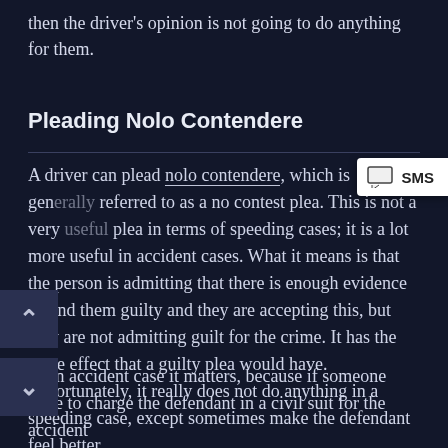then the driver's opinion is not going to do anything for them.
Pleading Nolo Contendere
A driver can plead nolo contendere, which is generally referred to as a no contest plea. This is not a very useful plea in terms of speeding cases; it is a lot more useful in accident cases. What it means is that the person is admitting that there is enough evidence to find them guilty and they are accepting this, but they are not admitting guilt for the crime. It has the same effect that a guilty plea would have. Unfortunately, it really does not do anything in a speeding case, except sometimes make the defendant feel better.
In an accident case it matters, because if someone were to charge the defendant in a civil suit for the accident